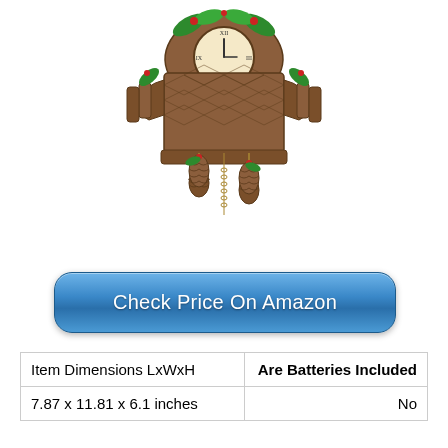[Figure (photo): A traditional carved wooden cuckoo clock with decorative leaves and pine cone weights hanging below, shown on a white background.]
Check Price On Amazon
| Item Dimensions LxWxH | Are Batteries Included |
| --- | --- |
| 7.87 x 11.81 x 6.1 inches | No |